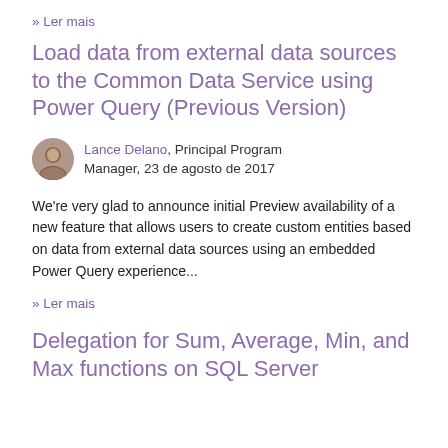» Ler mais
Load data from external data sources to the Common Data Service using Power Query (Previous Version)
Lance Delano, Principal Program Manager, 23 de agosto de 2017
We're very glad to announce initial Preview availability of a new feature that allows users to create custom entities based on data from external data sources using an embedded Power Query experience...
» Ler mais
Delegation for Sum, Average, Min, and Max functions on SQL Server